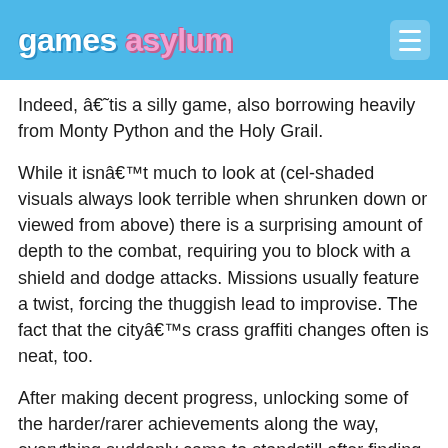games asylum
Indeed, â€˜tis a silly game, also borrowing heavily from Monty Python and the Holy Grail.
While it isnâ€™t much to look at (cel-shaded visuals always look terrible when shrunken down or viewed from above) there is a surprising amount of depth to the combat, requiring you to block with a shield and dodge attacks. Missions usually feature a twist, forcing the thuggish lead to improvise. The fact that the cityâ€™s crass graffiti changes often is neat, too.
After making decent progress, unlocking some of the harder/rarer achievements along the way, everything suddenly came to standstill after finding a game-breaking bug. My medieval lawbreaker is now